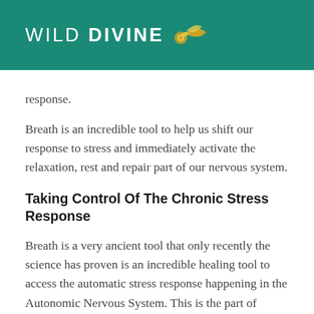[Figure (logo): Wild Divine logo — white text on teal background with golden leaf/swirl icon]
response.
Breath is an incredible tool to help us shift our response to stress and immediately activate the relaxation, rest and repair part of our nervous system.
Taking Control Of The Chronic Stress Response
Breath is a very ancient tool that only recently the science has proven is an incredible healing tool to access the automatic stress response happening in the Autonomic Nervous System. This is the part of…